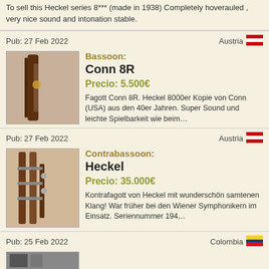To sell this Heckel series 8*** (made in 1938) Completely hoverauled , very nice sound and intonation stable.
Pub: 27 Feb 2022   Austria
[Figure (photo): Thumbnail photo of a bassoon]
Bassoon:
Conn 8R
Precio: 5.500€
Fagott Conn 8R. Heckel 8000er Kopie von Conn (USA) aus den 40er Jahren. Super Sound und leichte Spielbarkeit wie beim…
Pub: 27 Feb 2022   Austria
[Figure (photo): Thumbnail photo of a contrabassoon]
Contrabassoon:
Heckel
Precio: 35.000€
Kontrafagott von Heckel mit wunderschön samtenen Klang! War früher bei den Wiener Symphonikern im Einsatz. Seriennummer 194…
Pub: 25 Feb 2022   Colombia
[Figure (photo): Partial thumbnail photo at bottom]